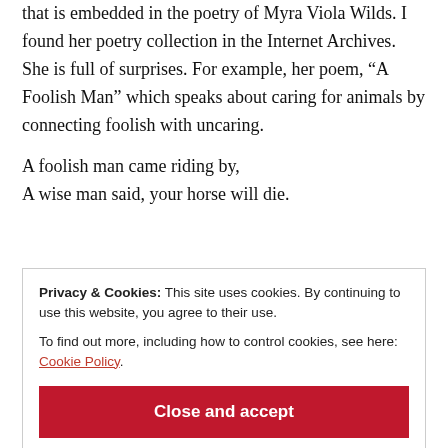that is embedded in the poetry of Myra Viola Wilds. I found her poetry collection in the Internet Archives. She is full of surprises. For example, her poem, “A Foolish Man” which speaks about caring for animals by connecting foolish with uncaring.
A foolish man came riding by,
A wise man said, your horse will die.
Privacy & Cookies: This site uses cookies. By continuing to use this website, you agree to their use.
To find out more, including how to control cookies, see here: Cookie Policy
Close and accept
Liked by 1 person